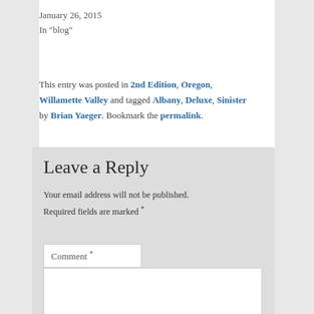January 26, 2015
In "blog"
This entry was posted in 2nd Edition, Oregon, Willamette Valley and tagged Albany, Deluxe, Sinister by Brian Yaeger. Bookmark the permalink.
Leave a Reply
Your email address will not be published. Required fields are marked *
Comment *